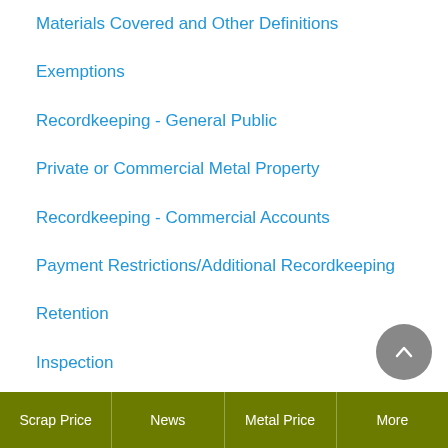Materials Covered and Other Definitions
Exemptions
Recordkeeping - General Public
Private or Commercial Metal Property
Recordkeeping - Commercial Accounts
Payment Restrictions/Additional Recordkeeping
Retention
Inspection
Reporting
Tag and Hold
Burned Metallic Wire
Scrap Price | News | Metal Price | More